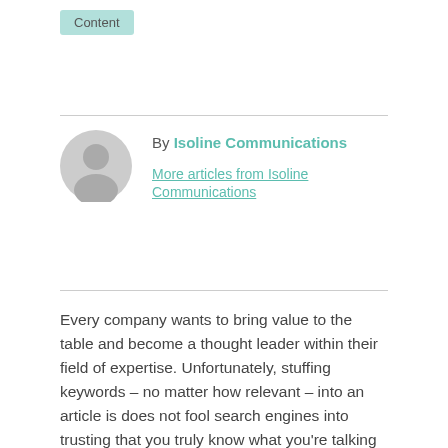Content
By Isoline Communications
More articles from Isoline Communications
Every company wants to bring value to the table and become a thought leader within their field of expertise. Unfortunately, stuffing keywords – no matter how relevant – into an article is does not fool search engines into trusting that you truly know what you're talking about. Content authority is built on real